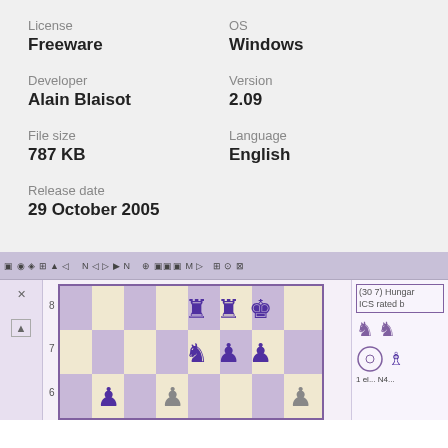License
Freeware
OS
Windows
Developer
Alain Blaisot
Version
2.09
File size
787 KB
Language
English
Release date
29 October 2005
[Figure (screenshot): Screenshot of a chess software application showing a chess board with purple pieces on rows 6-8, with toolbar at top and side panel showing game info including '(30 7) Hungar ICS rated b']